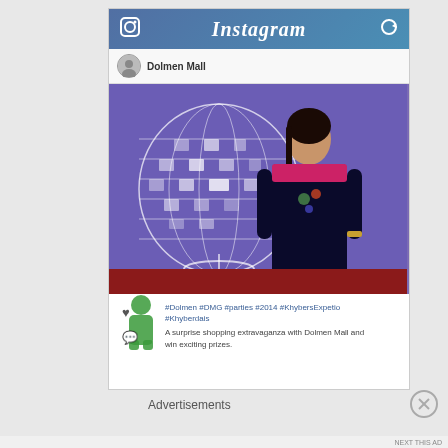[Figure (screenshot): Instagram frame with a photo of a woman standing in front of a disco ball backdrop at Dolmen Mall. The Instagram interface shows the header with logo and title, a profile bar with 'Dolmen Mall' username, the main photo, and caption with hashtags. Below the screenshot is an advertisement for DuckDuckGo.]
Advertisements
[Figure (screenshot): DuckDuckGo advertisement banner with orange background. Text reads: 'Search, browse, and email with more privacy. All in One Free App' with DuckDuckGo logo on the right.]